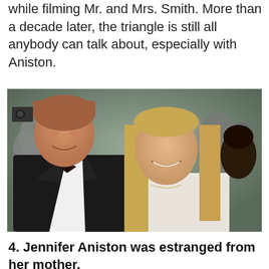while filming Mr. and Mrs. Smith. More than a decade later, the triangle is still all anybody can talk about, especially with Aniston.
[Figure (photo): A couple at a formal event. A man in a black tuxedo with bow tie and a woman with long blonde hair in a white dress, smiling at each other, with a crowd in the background.]
4. Jennifer Aniston was estranged from her mother.